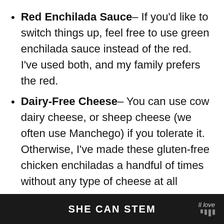Red Enchilada Sauce– If you'd like to switch things up, feel free to use green enchilada sauce instead of the red. I've used both, and my family prefers the red.
Dairy-Free Cheese– You can use cow dairy cheese, or sheep cheese (we often use Manchego) if you tolerate it. Otherwise, I've made these gluten-free chicken enchiladas a handful of times without any type of cheese at all
SHE CAN STEM